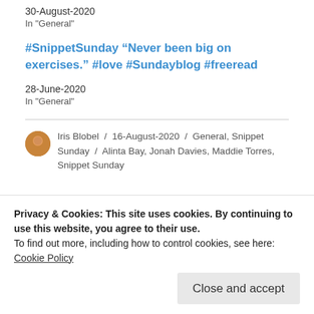30-August-2020
In "General"
#SnippetSunday “Never been big on exercises.” #love #Sundayblog #freeread
28-June-2020
In "General"
Iris Blobel / 16-August-2020 / General, Snippet Sunday / Alinta Bay, Jonah Davies, Maddie Torres, Snippet Sunday
Privacy & Cookies: This site uses cookies. By continuing to use this website, you agree to their use.
To find out more, including how to control cookies, see here: Cookie Policy
Close and accept
#SnippetSunday “I like your